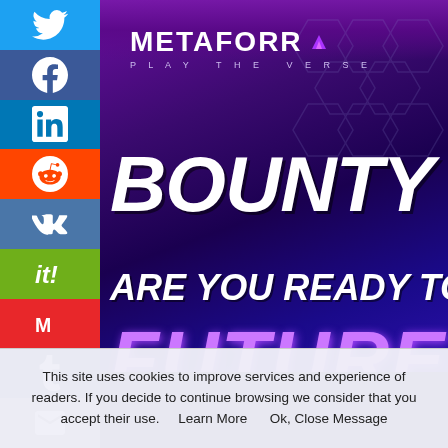[Figure (screenshot): Metaforra website screenshot showing social media share sidebar on the left (Twitter, Facebook, LinkedIn, Reddit, VK, it-bookmarks, Mix, Tumblr, Email icons), and the main area with Metaforra logo and tagline 'PLAY THE VERSE', large bold italic text 'BOUNTY CA...' partially cut off, 'ARE YOU READY TO PLA...' and partial purple text at bottom, all on a dark purple/blue gradient background with hexagon pattern.]
This site uses cookies to improve services and experience of readers. If you decide to continue browsing we consider that you accept their use.    Learn More      Ok, Close Message